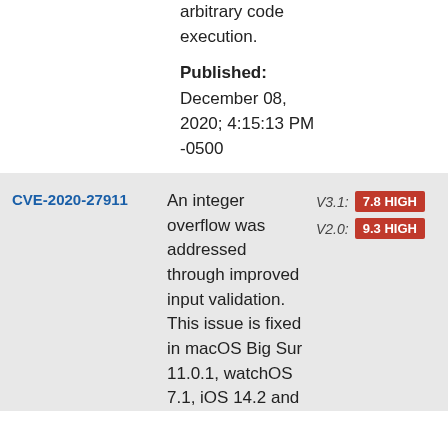arbitrary code execution.
Published: December 08, 2020; 4:15:13 PM -0500
CVE-2020-27911
An integer overflow was addressed through improved input validation. This issue is fixed in macOS Big Sur 11.0.1, watchOS 7.1, iOS 14.2 and
V3.1: 7.8 HIGH
V2.0: 9.3 HIGH